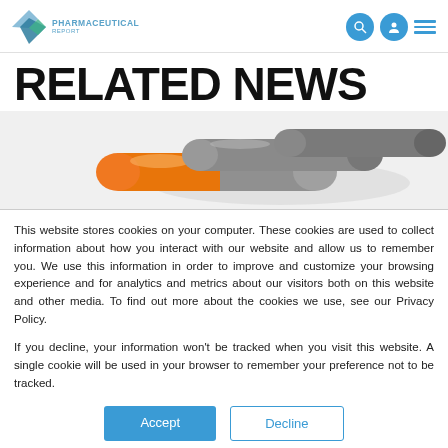PHARMACEUTICAL REPORT — navigation header with logo and icons
RELATED NEWS
[Figure (photo): Orange and gray pharmaceutical capsule pills arranged in a row, close-up photo]
This website stores cookies on your computer. These cookies are used to collect information about how you interact with our website and allow us to remember you. We use this information in order to improve and customize your browsing experience and for analytics and metrics about our visitors both on this website and other media. To find out more about the cookies we use, see our Privacy Policy.
If you decline, your information won't be tracked when you visit this website. A single cookie will be used in your browser to remember your preference not to be tracked.